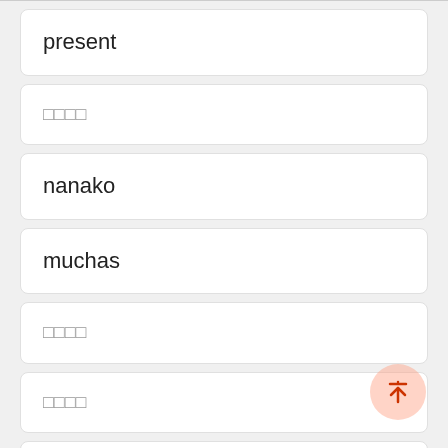present
□□□□
nanako
muchas
□□□□
□□□□
Vision